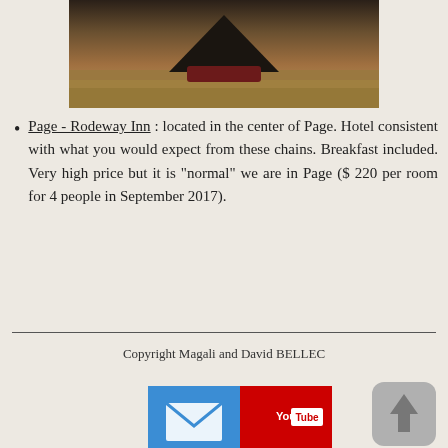[Figure (photo): Partial photo of a camping tent on dry ground, rocky landscape]
Page - Rodeway Inn : located in the center of Page. Hotel consistent with what you would expect from these chains. Breakfast included. Very high price but it is "normal" we are in Page ($ 220 per room for 4 people in September 2017).
Copyright Magali and David BELLEC
[Figure (logo): Email icon (blue) and YouTube icon (red) side by side]
[Figure (other): Gray rounded square scroll-to-top button with upward arrow]